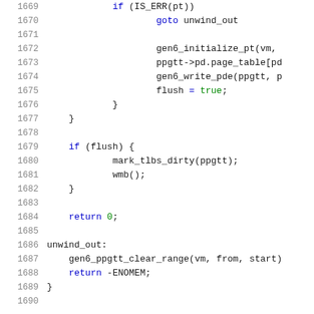[Figure (screenshot): Source code listing showing lines 1669-1690 of a C file with syntax highlighting. Lines show kernel GPU page table management code including goto unwind_out, gen6_initialize_pt, ppgtt->pd.page_table, gen6_write_pde, flush=true, closing braces, if(flush) block with mark_tlbs_dirty and wmb calls, return 0, unwind_out label, gen6_ppgtt_clear_range call, return -ENOMEM, and closing brace.]